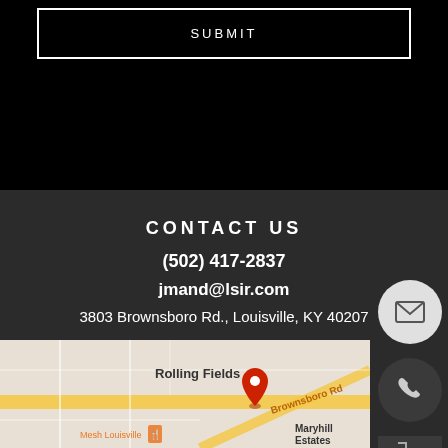SUBMIT
CONTACT US
(502) 417-2837
jmand@lsir.com
3803 Brownsboro Rd., Louisville, KY 40207
[Figure (map): Google Maps view showing location at 3803 Brownsboro Rd., Louisville, KY 40207. Map shows Rolling Fields neighborhood, Brownsboro Rd, Mesh Louisville restaurant, Maryhill Estates, with a red pin marker at the address.]